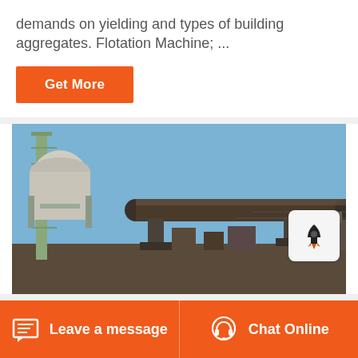demands on yielding and types of building aggregates. Flotation Machine; ...
Get More
[Figure (photo): Industrial photograph showing a large rotary kiln or similar heavy industrial equipment with a tall tower structure and long horizontal cylindrical pipe, set against a blue sky in an industrial yard.]
Leave a message
Chat Online